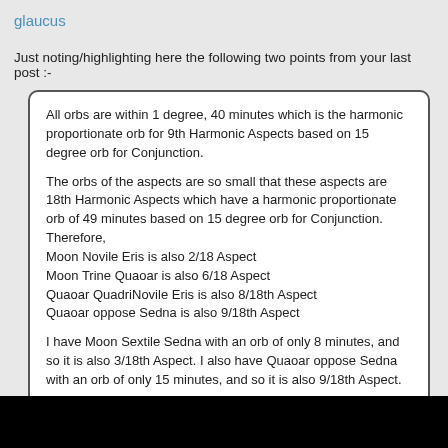glaucus
Just noting/highlighting here the following two points from your last post :-
All orbs are within 1 degree, 40 minutes which is the harmonic proportionate orb for 9th Harmonic Aspects based on 15 degree orb for Conjunction.

The orbs of the aspects are so small that these aspects are 18th Harmonic Aspects which have a harmonic proportionate orb of 49 minutes based on 15 degree orb for Conjunction.
Therefore,
Moon Novile Eris is also 2/18 Aspect
Moon Trine Quaoar is also 6/18 Aspect
Quaoar QuadriNovile Eris is also 8/18th Aspect
Quaoar oppose Sedna is also 9/18th Aspect

I have Moon Sextile Sedna with an orb of only 8 minutes, and so it is also 3/18th Aspect. I also have Quaoar oppose Sedna with an orb of only 15 minutes, and so it is also 9/18th Aspect.
AND